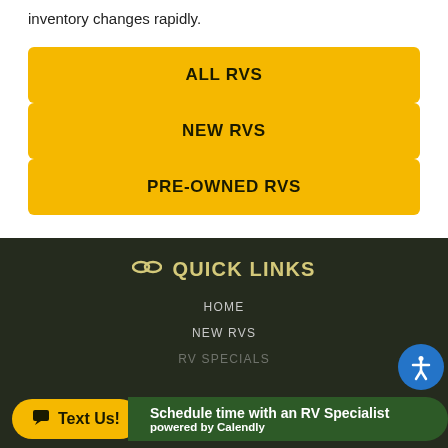inventory changes rapidly.
ALL RVS
NEW RVS
PRE-OWNED RVS
QUICK LINKS
HOME
NEW RVS
RV SPECIALS
Text Us! | Schedule time with an RV Specialist powered by Calendly